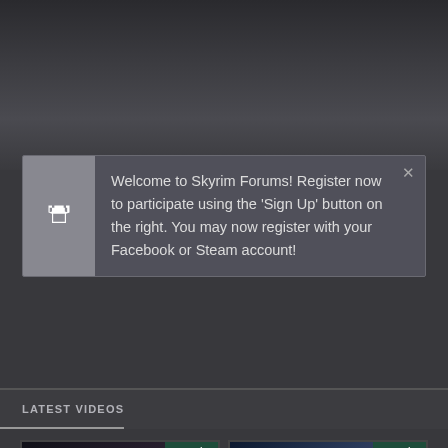Welcome to Skyrim Forums! Register now to participate using the 'Sign Up' button on the right. You may now register with your Facebook or Steam account!
LATEST VIDEOS
[Figure (screenshot): Video thumbnail for Octopath Traveler: Champions of the Continent - Official Hasumi Trailer. Shows game art with title text. Stats: 0 comments, 0 likes, 62 views. Duration: 0:35. Has ER badge.]
Octopath Traveler: Champions of the Continent - Official Hasumi Trailer
[Figure (screenshot): Video thumbnail for Total War: WARHAMMER III - What is Champions of Chaos. Shows fantasy warrior art. Stats: 0 comments, 0 likes, 44 views. Duration: 2:29.]
Total War: WARHAMMER III - What is Champions of Chaos